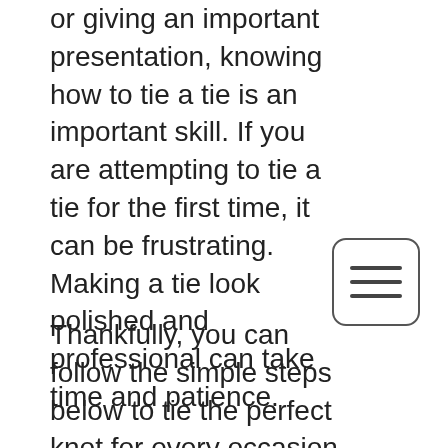or giving an important presentation, knowing how to tie a tie is an important skill. If you are attempting to tie a tie for the first time, it can be frustrating. Making a tie look polished and professional can take time and patience.
[Figure (other): Hamburger menu icon — a rounded rectangle with three horizontal lines]
Thankfully, you can follow the simple steps below to tie the perfect knot for every occasion. Each knot sends a subliminal message that attracts attention and creates a put-together look. From formal business attire to a casual day at the office, the